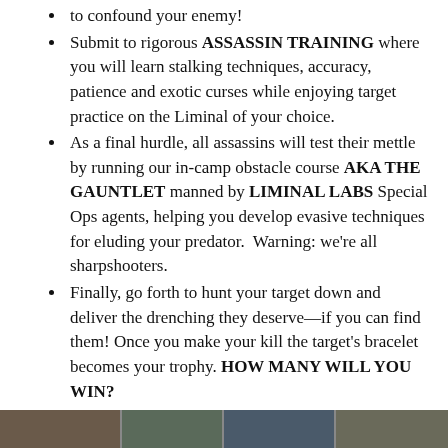to confound your enemy!
Submit to rigorous ASSASSIN TRAINING where you will learn stalking techniques, accuracy, patience and exotic curses while enjoying target practice on the Liminal of your choice.
As a final hurdle, all assassins will test their mettle by running our in-camp obstacle course AKA THE GAUNTLET manned by LIMINAL LABS Special Ops agents, helping you develop evasive techniques for eluding your predator.  Warning: we're all sharpshooters.
Finally, go forth to hunt your target down and deliver the drenching they deserve—if you can find them! Once you make your kill the target's bracelet becomes your trophy. HOW MANY WILL YOU WIN?
NEXT
[Figure (photo): Photo strip at bottom of page]